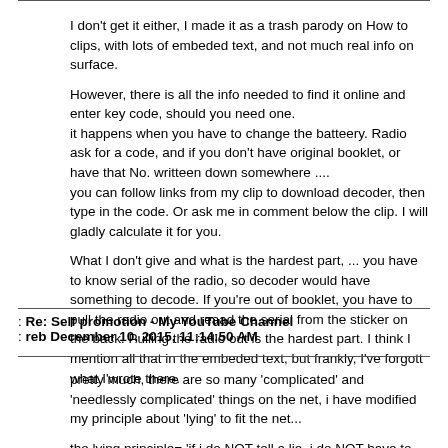I don't get it either, I made it as a trash parody on How to clips, with lots of embeded text, and not much real info on surface.

However, there is all the info needed to find it online and enter key code, should you need one.
it happens when you have to change the batteery. Radio ask for a code, and if you don't have original booklet, or have that No. writteen down somewhere ....
you can follow links from my clip to download decoder, then type in the code. Or ask me in comment below the clip. I will gladly calculate it for you.

What I don't give and what is the hardest part, ... you have to know serial of the radio, so decoder would have something to decode. If you're out of booklet, you have to pull the radio out and reaad the serial from the sticker on the back. Pulling the radio out is the hardest part. I think I mention all that in the embeded text, but frankly, I've forgott what I'wrote there.
Re: Self promotion - My YouTube Channel
reb December 10, 2015, 11:14:50 AM
pretty much, there are so many 'complicated' and 'needlessly complicated' things on the net, i have modified my principle about 'lying' to fit the net...

the lying principle= 'if i do NOT tell a lie, i do NOT have to